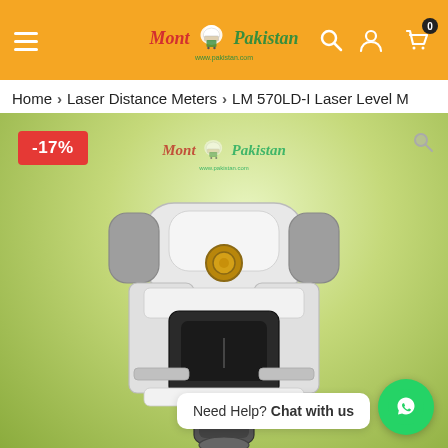[Figure (screenshot): E-commerce website header with orange background, hamburger menu, Mont Pakistan logo, search icon, user icon, and cart icon with badge showing 0]
Home > Laser Distance Meters > LM 570LD-I Laser Level M
[Figure (photo): Product photo of LM 570LD-I Laser Level device on green background with -17% discount badge, Mont Pakistan watermark logo, WhatsApp chat widget saying 'Need Help? Chat with us', and magnify icon]